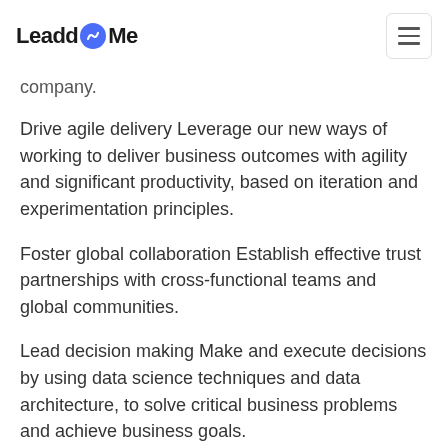LeaddMe [logo] (hamburger menu)
company.
Drive agile delivery Leverage our new ways of working to deliver business outcomes with agility and significant productivity, based on iteration and experimentation principles.
Foster global collaboration Establish effective trust partnerships with cross-functional teams and global communities.
Lead decision making Make and execute decisions by using data science techniques and data architecture, to solve critical business problems and achieve business goals.
Uphold behavior standards Maintain behavior standards and practice the core values for all the coworkers.